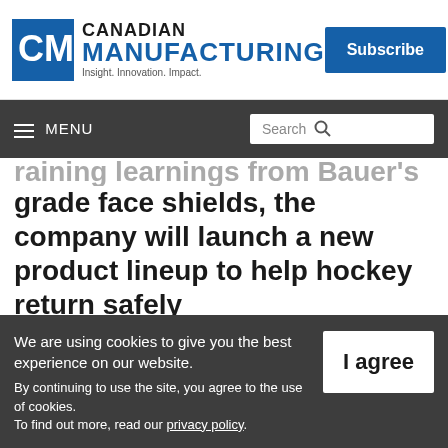Canadian Manufacturing — Insight. Innovation. Impact.
...grade face shields, the company will launch a new product lineup to help hockey return safely
EXETER, N.H. — Bauer Hockey announced on June 17 a new line of products to help enable
We are using cookies to give you the best experience on our website. By continuing to use the site, you agree to the use of cookies. To find out more, read our privacy policy.